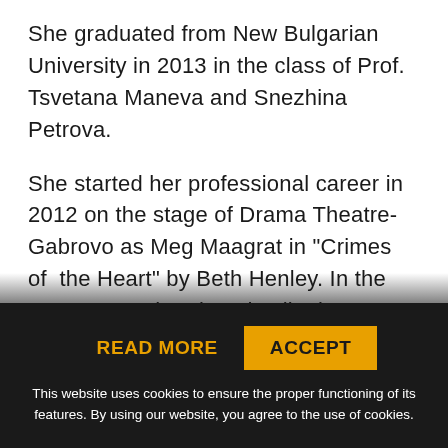She graduated from New Bulgarian University in 2013 in the class of Prof. Tsvetana Maneva and Snezhina Petrova.
She started her professional career in 2012 on the stage of Drama Theatre-Gabrovo as Meg Maagrat in "Crimes of the Heart" by Beth Henley. In the same year, she played Juliet in "Romeo and Juliet" for which she was nominated for IKAR' 2013. On the stage of the Gabrovo Theatre she played the roles of Lila in "Bulgarians of Old Times" by Lyuben Karavelov, Se... and ... Tz... M...
READ MORE  ACCEPT
This website uses cookies to ensure the proper functioning of its features. By using our website, you agree to the use of cookies.